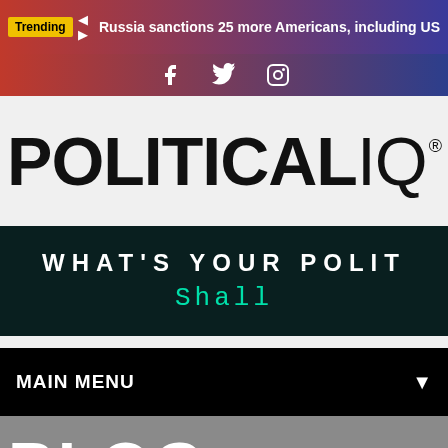Trending  Russia sanctions 25 more Americans, including US
[Figure (screenshot): Social media icons bar (Facebook, Twitter, Instagram) on red-to-blue gradient background]
[Figure (logo): POLITICAL IQ registered trademark logo in bold black text on light gray background]
WHAT'S YOUR POLIT
Shall
MAIN MENU
BLOG